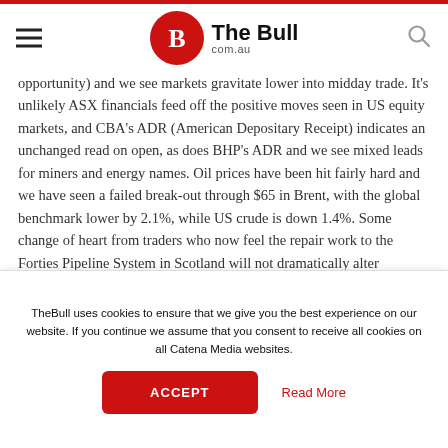The Bull com.au
opportunity) and we see markets gravitate lower into midday trade. It's unlikely ASX financials feed off the positive moves seen in US equity markets, and CBA's ADR (American Depositary Receipt) indicates an unchanged read on open, as does BHP's ADR and we see mixed leads for miners and energy names. Oil prices have been hit fairly hard and we have seen a failed break-out through $65 in Brent, with the global benchmark lower by 2.1%, while US crude is down 1.4%. Some change of heart from traders who now feel the repair work to the Forties Pipeline System in Scotland will not dramatically alter
TheBull uses cookies to ensure that we give you the best experience on our website. If you continue we assume that you consent to receive all cookies on all Catena Media websites.